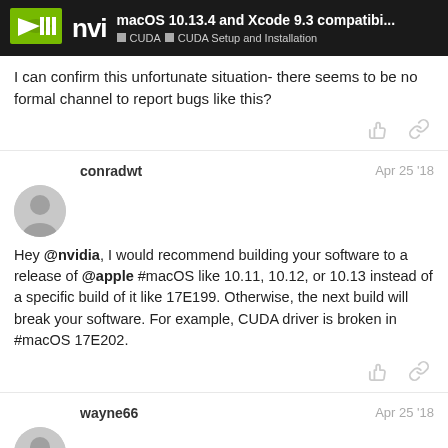macOS 10.13.4 and Xcode 9.3 compatibi... | CUDA | CUDA Setup and Installation
I can confirm this unfortunate situation- there seems to be no formal channel to report bugs like this?
conradwt  Apr 25 '18
Hey @nvidia, I would recommend building your software to a release of @apple #macOS like 10.11, 10.12, or 10.13 instead of a specific build of it like 17E199. Otherwise, the next build will break your software. For example, CUDA driver is broken in #macOS 17E202.
wayne66  Apr 25 '18